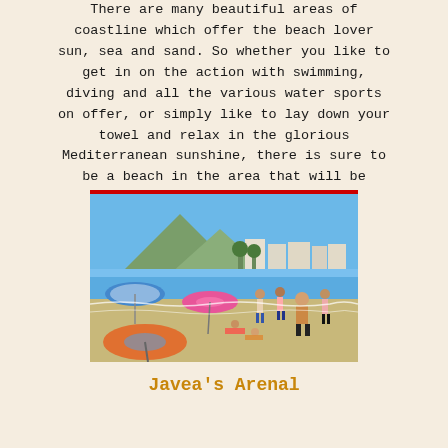There are many beautiful areas of coastline which offer the beach lover sun, sea and sand. So whether you like to get in on the action with swimming, diving and all the various water sports on offer, or simply like to lay down your towel and relax in the glorious Mediterranean sunshine, there is sure to be a beach in the area that will be perfect for your needs.
[Figure (photo): A crowded Mediterranean beach scene with colorful beach umbrellas in the foreground, people on the sand and in the water, with a mountain and buildings visible in the background under a clear blue sky.]
Javea's Arenal